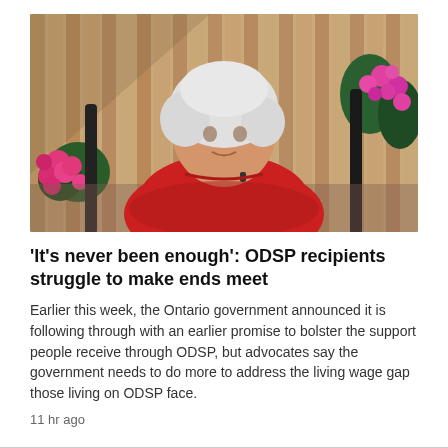[Figure (photo): An older woman with short white hair wearing a red short-sleeve top, seated in what appears to be a wheelchair outdoors, with pink flowers and a wooden fence in the background.]
'It's never been enough': ODSP recipients struggle to make ends meet
Earlier this week, the Ontario government announced it is following through with an earlier promise to bolster the support people receive through ODSP, but advocates say the government needs to do more to address the living wage gap those living on ODSP face.
11 hr ago